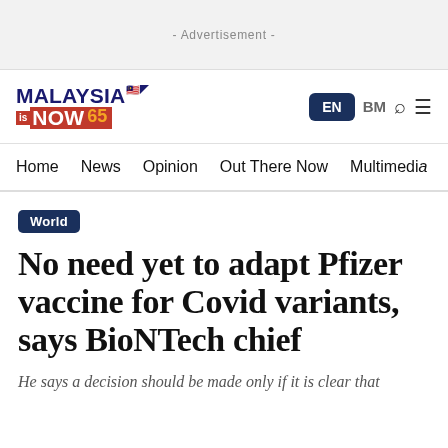- Advertisement -
[Figure (logo): Malaysia is Now 65 news website logo with Malaysian flag emoji, blue and red color scheme]
EN  BM  [Search] [Menu]
Home  News  Opinion  Out There Now  Multimedia
World
No need yet to adapt Pfizer vaccine for Covid variants, says BioNTech chief
He says a decision should be made only if it is clear that